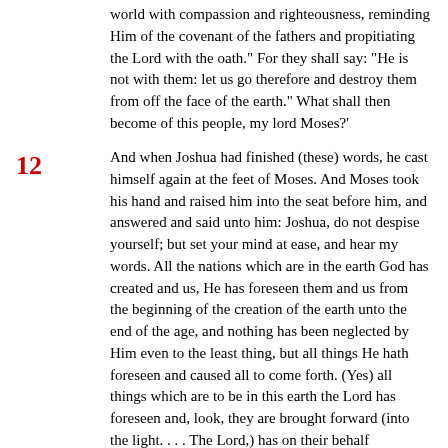world with compassion and righteousness, reminding Him of the covenant of the fathers and propitiating the Lord with the oath."  For they shall say: "He is not with them: let us go therefore and destroy them from off the face of the earth." What shall then become of this people, my lord Moses?'
12  And when Joshua had finished (these) words, he cast himself again at the feet of Moses.  And Moses took his hand and raised him into the seat before him, and answered and said unto him: Joshua, do not despise yourself; but set your mind at ease, and hear my words.  All the nations which are in the earth God has created and us, He has foreseen them and us from the beginning of the creation of the earth unto the end of the age, and nothing has been neglected by Him even to the least thing, but all things He hath foreseen and caused all to come forth. (Yes) all things which are to be in this earth the Lord has foreseen and, look, they are brought forward (into the light. . . .  The Lord,) has on their behalf appointed me to (pray) for their sins and (make intercession) for them.  For not for any virtue or strength of mine, but of His good pleasure have His compassion and longsuffering fallen to my lot.  For I say unto you, Joshua: it is not on account of the godliness of this people that you shall root out the